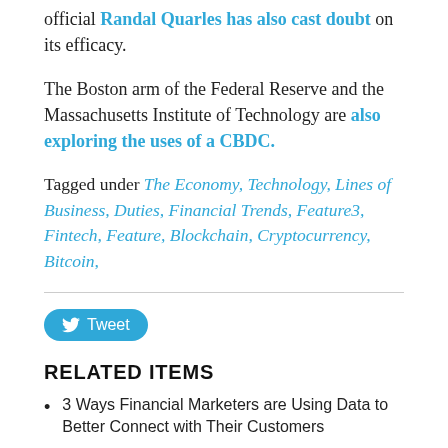official Randal Quarles has also cast doubt on its efficacy.
The Boston arm of the Federal Reserve and the Massachusetts Institute of Technology are also exploring the uses of a CBDC.
Tagged under The Economy, Technology, Lines of Business, Duties, Financial Trends, Feature3, Fintech, Feature, Blockchain, Cryptocurrency, Bitcoin,
[Figure (other): Tweet button with Twitter bird icon]
RELATED ITEMS
3 Ways Financial Marketers are Using Data to Better Connect with Their Customers
Branch business: Equity Bank sells branch to High Plains Bank
Don't change bank guidance on crypto, ABA says